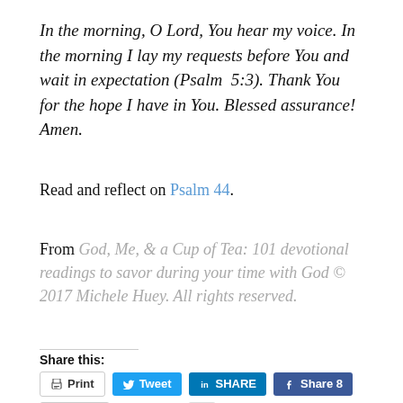In the morning, O Lord, You hear my voice. In the morning I lay my requests before You and wait in expectation (Psalm 5:3). Thank You for the hope I have in You. Blessed assurance! Amen.
Read and reflect on Psalm 44.
From God, Me, & a Cup of Tea: 101 devotional readings to savor during your time with God © 2017 Michele Huey. All rights reserved.
Share this:
Print | Tweet | SHARE | Share 8 | Email | Save | 1